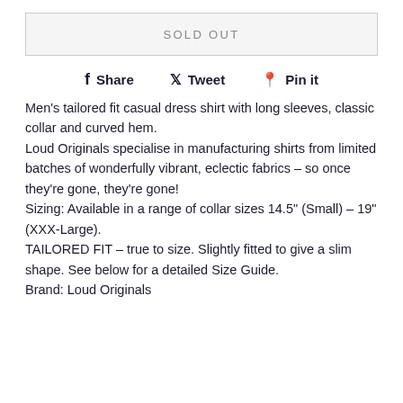SOLD OUT
Share  Tweet  Pin it
Men's tailored fit casual dress shirt with long sleeves, classic collar and curved hem.
Loud Originals specialise in manufacturing shirts from limited batches of wonderfully vibrant, eclectic fabrics – so once they're gone, they're gone!
Sizing: Available in a range of collar sizes 14.5" (Small) – 19" (XXX-Large).
TAILORED FIT – true to size. Slightly fitted to give a slim shape. See below for a detailed Size Guide.
Brand: Loud Originals